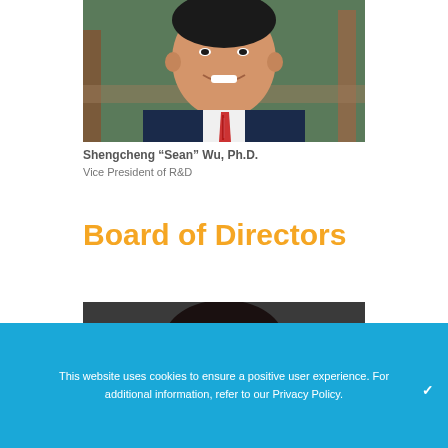[Figure (photo): Headshot of Shengcheng Sean Wu Ph.D., a man smiling outdoors near wooden railing and green foliage, wearing a dark suit and red striped tie.]
Shengcheng “Sean” Wu, Ph.D.
Vice President of R&D
Board of Directors
[Figure (photo): Partial headshot of a person with dark hair against a dark background, only top of head visible.]
This website uses cookies to ensure a positive user experience. For additional information, refer to our Privacy Policy.